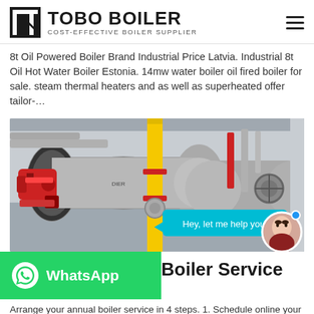TOBO BOILER — COST-EFFECTIVE BOILER SUPPLIER
8t Oil Powered Boiler Brand Industrial Price Latvia. Industrial 8t Oil Hot Water Boiler Estonia. 14mw water boiler oil fired boiler for sale. steam thermal heaters and as well as superheated offer tailor-…
[Figure (photo): Industrial boiler room with a large horizontal fire-tube boiler in silver/grey finish with a red burner attached on the left side. Yellow vertical gas pipe in the center, red and silver piping throughout. Another boiler visible in the background on the right. An overlaid chat bubble reads 'Hey, let me help you!' with a female avatar in the bottom right.]
WhatsApp
Boiler Service
Arrange your annual boiler service in 4 steps. 1. Schedule online your boiler servicing appointment. 2. A Gas Safe Registered